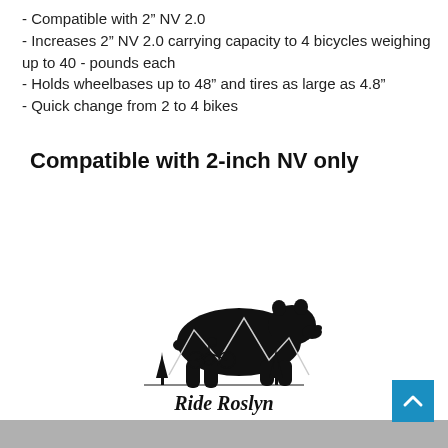- Compatible with 2" NV 2.0
- Increases 2" NV 2.0 carrying capacity to 4 bicycles weighing up to 40 - pounds each
- Holds wheelbases up to 48" and tires as large as 4.8"
- Quick change from 2 to 4 bikes
Compatible with 2-inch NV only
[Figure (logo): Ride Roslyn logo: a black bear silhouette over mountains with a cyclist and trees, with cursive text 'Ride Roslyn' below]